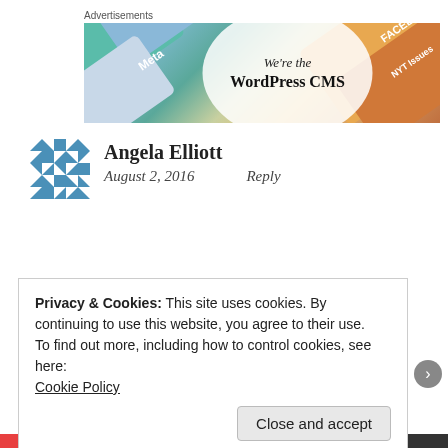Advertisements
[Figure (screenshot): Advertisement banner for WordPress CMS featuring colorful diagonal card graphics with Meta and Facebook labels, and white oval overlay reading 'We're the WordPress CMS']
Angela Elliott
August 2, 2016    Reply
Privacy & Cookies: This site uses cookies. By continuing to use this website, you agree to their use.
To find out more, including how to control cookies, see here:
Cookie Policy
Close and accept